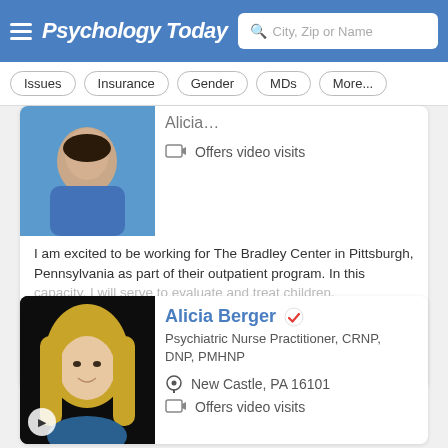Psychology Today — City, Zip or Name search
Issues
Insurance
Gender
MDs
More...
[Figure (photo): Partial photo of a provider in a blue top]
Offers video visits
I am excited to be working for The Bradley Center in Pittsburgh, Pennsylvania as part of their outpatient program. In this capacity, I will serve to evaluate and treat children, adolescents,
Email
(412) 776-0424
Alicia Berger
Psychiatric Nurse Practitioner, CRNP, DNP, PMHNP
New Castle, PA 16101
Offers video visits
[Figure (photo): Photo of Alicia Berger, a blonde woman smiling, with a video play button overlay]